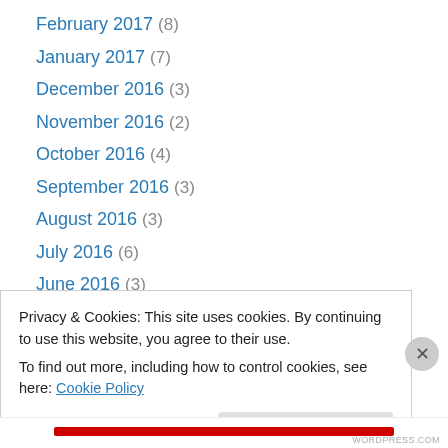February 2017 (8)
January 2017 (7)
December 2016 (3)
November 2016 (2)
October 2016 (4)
September 2016 (3)
August 2016 (3)
July 2016 (6)
June 2016 (3)
May 2016 (7)
April 2016 (7)
March 2016 (6)
February 2016 (9)
Privacy & Cookies: This site uses cookies. By continuing to use this website, you agree to their use. To find out more, including how to control cookies, see here: Cookie Policy
Close and accept